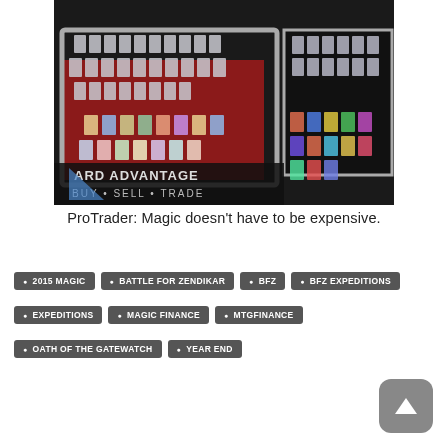[Figure (photo): Photo of a card shop display table labeled 'ARD ADVANTAGE - BUY · SELL · TRADE' showing trading card binders and card displays at what appears to be a gaming convention or card show.]
ProTrader: Magic doesn't have to be expensive.
2015 MAGIC
BATTLE FOR ZENDIKAR
BFZ
BFZ EXPEDITIONS
EXPEDITIONS
MAGIC FINANCE
MTGFINANCE
OATH OF THE GATEWATCH
YEAR END